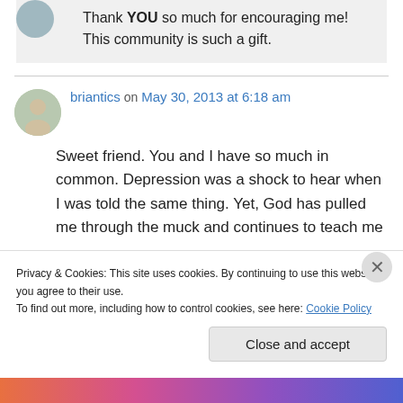Thank YOU so much for encouraging me! This community is such a gift.
briantics on May 30, 2013 at 6:18 am
Sweet friend. You and I have so much in common. Depression was a shock to hear when I was told the same thing. Yet, God has pulled me through the muck and continues to teach me
Privacy & Cookies: This site uses cookies. By continuing to use this website, you agree to their use. To find out more, including how to control cookies, see here: Cookie Policy
Close and accept